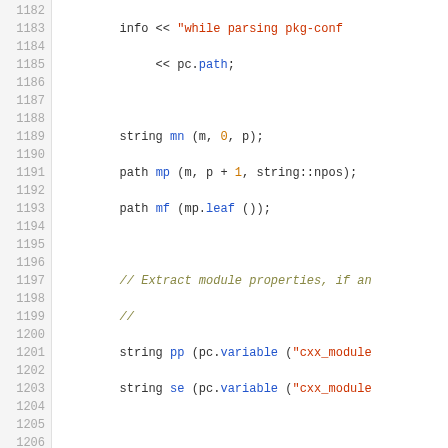[Figure (screenshot): Source code viewer showing C++ code lines 1182-1211 with line numbers on the left and syntax-highlighted code on the right. Keywords in bold black, strings in red-orange, numbers in orange, member functions in blue, comments in olive italic.]